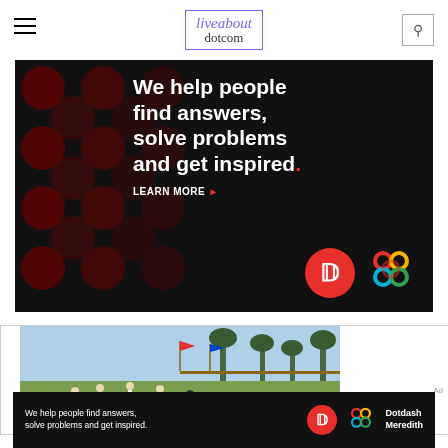liveabout dotcom
[Figure (illustration): Dotdash Meredith advertisement on black background with dark red polka dots. Text reads: 'We help people find answers, solve problems and get inspired.' with LEARN MORE button and Dotdash Meredith logos.]
[Figure (photo): Painting or illustration of a cricket match being played on a field with players in white, spectators and trees in the background.]
[Figure (illustration): Bottom banner advertisement: 'We help people find answers, solve problems and get inspired.' with Dotdash Meredith logo and branding.]